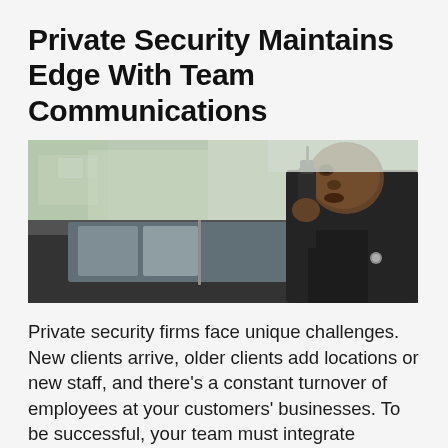Private Security Maintains Edge With Team Communications
[Figure (photo): A security guard in a dark uniform speaking into a handheld radio/walkie-talkie while standing next to a vehicle. The guard is a Black man, photographed in profile from the right side. Background shows a blurred outdoor environment.]
Private security firms face unique challenges. New clients arrive, older clients add locations or new staff, and there’s a constant turnover of employees at your customers’ businesses. To be successful, your team must integrate seamlessly into the client’s existing operations and